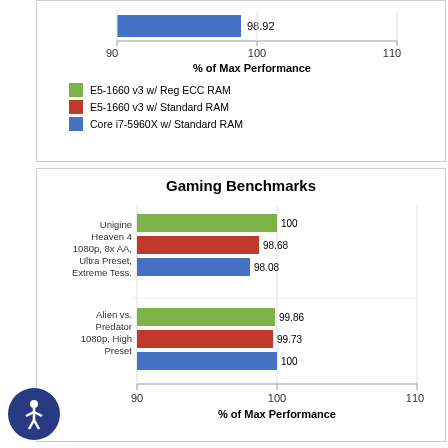[Figure (bar-chart): ]
[Figure (bar-chart): Gaming Benchmarks]